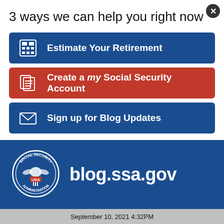3 ways we can help you right now
Estimate Your Retirement
Create a my Social Security Account
Sign up for Blog Updates
No Thanks    Remind Me Later
[Figure (logo): Social Security Administration USA seal/logo in white on blue background]
blog.ssa.gov
September 10, 2021 4:32PM